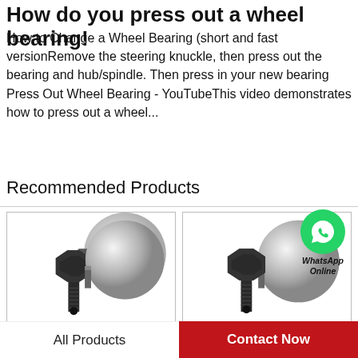How do you press out a wheel bearing!
How to Change a Wheel Bearing (short and fast versionRemove the steering knuckle, then press out the bearing and hub/spindle. Then press in your new bearing Press Out Wheel Bearing - YouTubeThis video demonstrates how to press out a wheel...
Recommended Products
[Figure (photo): Photo of a wheel bearing component - cylindrical metal piece with black hex nut bolt]
[Figure (photo): Photo of a wheel bearing component - cylindrical metal piece with black hex nut bolt, with WhatsApp Online badge overlay]
All Products   Contact Now